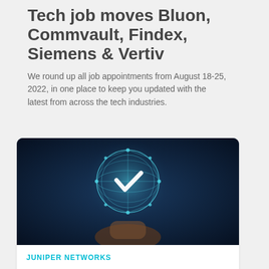Tech job moves Bluon, Commvault, Findex, Siemens & Vertiv
We round up all job appointments from August 18-25, 2022, in one place to keep you updated with the latest from across the tech industries.
[Figure (photo): A hand holding up a glowing digital globe with a checkmark in the center, surrounded by connected dots, against a dark blue background with city silhouette.]
JUNIPER NETWORKS
Juniper Networks unveils Network as